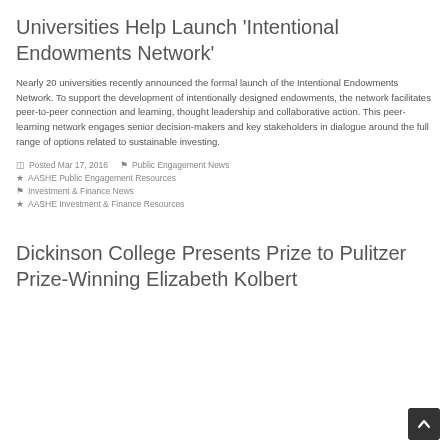Universities Help Launch 'Intentional Endowments Network'
Nearly 20 universities recently announced the formal launch of the Intentional Endowments Network. To support the development of intentionally designed endowments, the network facilitates peer-to-peer connection and learning, thought leadership and collaborative action. This peer-learning network engages senior decision-makers and key stakeholders in dialogue around the full range of options related to sustainable investing.
Posted Mar 17, 2016   Public Engagement News
★ AASHE Public Engagement Resources
  Investment & Finance News
★ AASHE Investment & Finance Resources
Dickinson College Presents Prize to Pulitzer Prize-Winning Elizabeth Kolbert